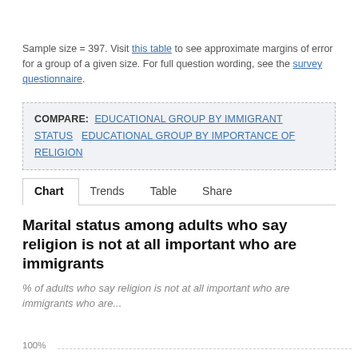Sample size = 397. Visit this table to see approximate margins of error for a group of a given size. For full question wording, see the survey questionnaire.
COMPARE: EDUCATIONAL GROUP BY IMMIGRANT STATUS   EDUCATIONAL GROUP BY IMPORTANCE OF RELIGION
Chart   Trends   Table   Share
Marital status among adults who say religion is not at all important who are immigrants
% of adults who say religion is not at all important who are immigrants who are...
100%